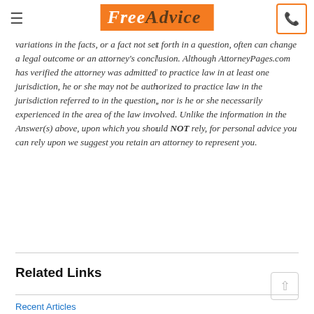FreeAdvice
variations in the facts, or a fact not set forth in a question, often can change a legal outcome or an attorney's conclusion. Although AttorneyPages.com has verified the attorney was admitted to practice law in at least one jurisdiction, he or she may not be authorized to practice law in the jurisdiction referred to in the question, nor is he or she necessarily experienced in the area of the law involved. Unlike the information in the Answer(s) above, upon which you should NOT rely, for personal advice you can rely upon we suggest you retain an attorney to represent you.
Related Links